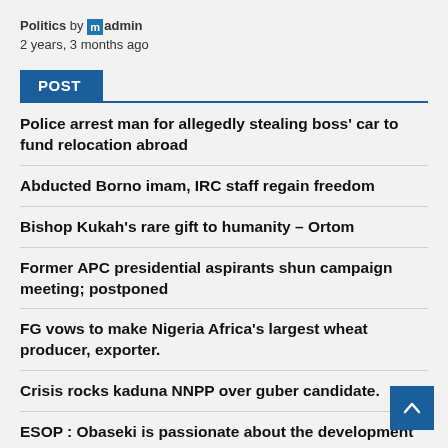Politics by admin
2 years, 3 months ago
POST
Police arrest man for allegedly stealing boss' car to fund relocation abroad
Abducted Borno imam, IRC staff regain freedom
Bishop Kukah's rare gift to humanity – Ortom
Former APC presidential aspirants shun campaign meeting; postponed
FG vows to make Nigeria Africa's largest wheat producer, exporter.
Crisis rocks kaduna NNPP over guber candidate.
ESOP : Obaseki is passionate about the development